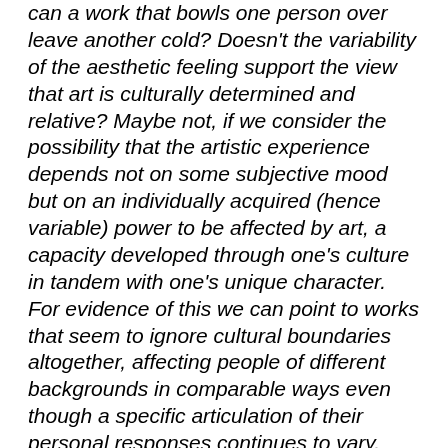can a work that bowls one person over leave another cold? Doesn't the variability of the aesthetic feeling support the view that art is culturally determined and relative? Maybe not, if we consider the possibility that the artistic experience depends not on some subjective mood but on an individually acquired (hence variable) power to be affected by art, a capacity developed through one's culture in tandem with one's unique character. For evidence of this we can point to works that seem to ignore cultural boundaries altogether, affecting people of different backgrounds in comparable ways even though a specific articulation of their personal responses continues to vary. Consider the plays of William Shakespeare or Greek theater, or the fairy tales that have sprung up in similar forms on every continent. We could not be further removed from the people who painted in the Chauvet Cave, nor could we be more oblivious as to the